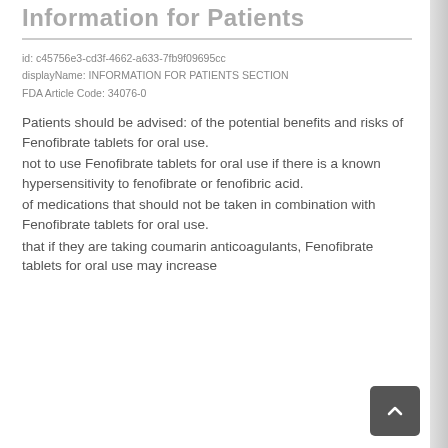Information for Patients
id: c45756e3-cd3f-4662-a633-7fb9f09695cc
displayName: INFORMATION FOR PATIENTS SECTION
FDA Article Code: 34076-0
Patients should be advised: of the potential benefits and risks of Fenofibrate tablets for oral use.
not to use Fenofibrate tablets for oral use if there is a known hypersensitivity to fenofibrate or fenofibric acid.
of medications that should not be taken in combination with Fenofibrate tablets for oral use.
that if they are taking coumarin anticoagulants, Fenofibrate tablets for oral use may increase